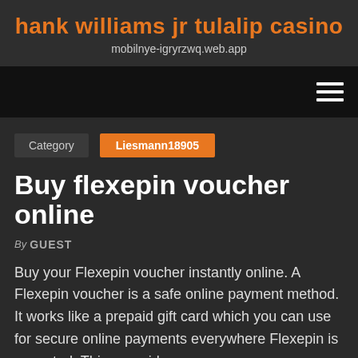hank williams jr tulalip casino
mobilnye-igryrzwq.web.app
Buy flexepin voucher online
By GUEST
Buy your Flexepin voucher instantly online. A Flexepin voucher is a safe online payment method. It works like a prepaid gift card which you can use for secure online payments everywhere Flexepin is accepted. This prepaid